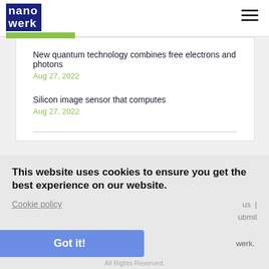nanowerk
New quantum technology combines free electrons and photons
Aug 27, 2022
Silicon image sensor that computes
Aug 27, 2022
This website uses cookies to ensure you get the best experience on our website.
Cookie policy
Got it!
All Rights Reserved.